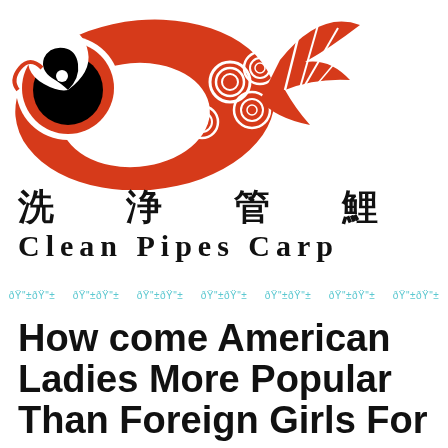[Figure (logo): Red and black koi/carp fish logo illustration — a stylized koi fish in red with black swirl eye and decorative white patterns, facing left with tail fin to the right]
洗 浄 管 鯉
Clean Pipes Carp
□□□□  □□□□  □□□□  □□□□  □□□□  □□□□  □□□□
How come American Ladies More Popular Than Foreign Girls For